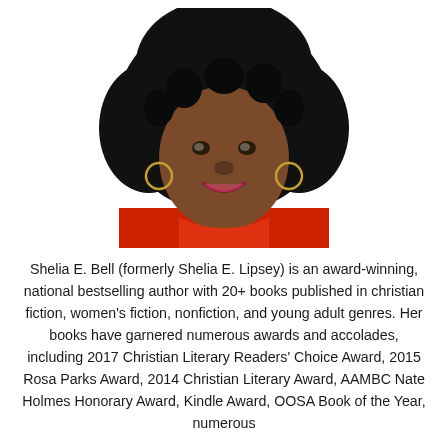[Figure (photo): Headshot portrait of Shelia E. Bell, a smiling woman with a large natural afro hairstyle, hoop earrings, wearing a red top, against a white background.]
Shelia E. Bell (formerly Shelia E. Lipsey) is an award-winning, national bestselling author with 20+ books published in christian fiction, women's fiction, nonfiction, and young adult genres. Her books have garnered numerous awards and accolades, including 2017 Christian Literary Readers' Choice Award, 2015 Rosa Parks Award, 2014 Christian Literary Award, AAMBC Nate Holmes Honorary Award, Kindle Award, OOSA Book of the Year, numerous